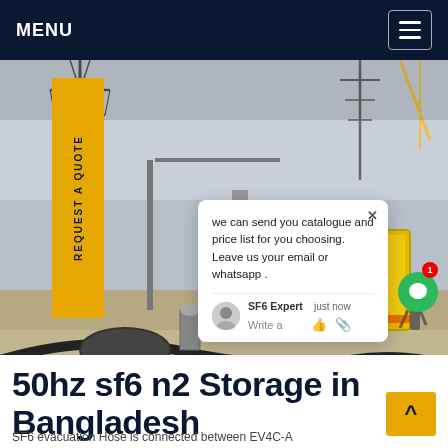MENU
[Figure (photo): Electrical substation with SF6 gas equipment, transmission towers, and yellow safety structures in Bangladesh. A chat popup overlay is visible.]
REQUEST A QUOTE
we can send you catalogue and price list for you choosing. Leave us your email or whatsapp .
SF6 Expert   just now
Write a
50hz sf6 n2 Storage in Bangladesh
SF6 evacuation Hose is connected between EV4C-A